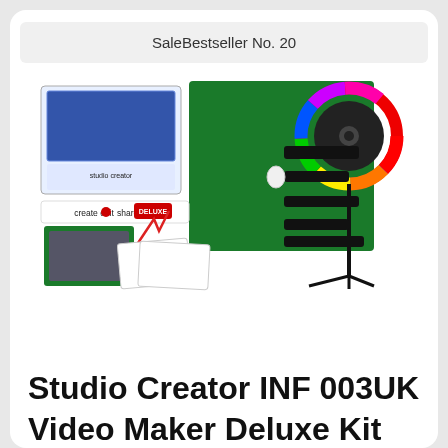SaleBestseller No. 20
[Figure (photo): Product photo of Studio Creator INF 003UK Video Maker Deluxe Kit, showing a large RGB ring light on a tripod stand with green screen backdrop, a product box, phone holder, and various accessories laid out on a white background.]
Studio Creator INF 003UK Video Maker Deluxe Kit